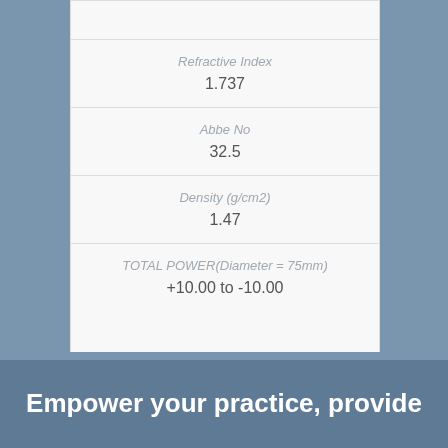| Refractive Index | 1.737 |
| Abbe No | 32.5 |
| Density (g/cm2) | 1.47 |
| TOTAL POWER(Diameter = 75mm) | +10.00 to -10.00 |
Empower your practice, provide